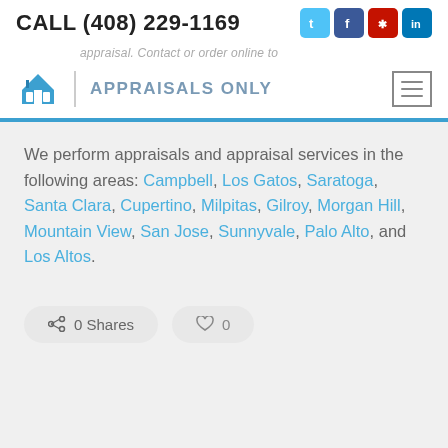CALL (408) 229-1169
appraisal. Contact or order online to
[Figure (logo): Appraisals Only logo with house icon and text APPRAISALS ONLY]
We perform appraisals and appraisal services in the following areas: Campbell, Los Gatos, Saratoga, Santa Clara, Cupertino, Milpitas, Gilroy, Morgan Hill, Mountain View, San Jose, Sunnyvale, Palo Alto, and Los Altos.
0 Shares  0